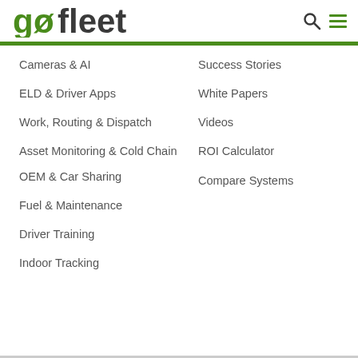[Figure (logo): GoFleet logo with stylized lowercase 'gofleet' text in dark gray and green]
Cameras & AI
ELD & Driver Apps
Work, Routing & Dispatch
Asset Monitoring & Cold Chain
OEM & Car Sharing
Fuel & Maintenance
Driver Training
Indoor Tracking
Success Stories
White Papers
Videos
ROI Calculator
Compare Systems